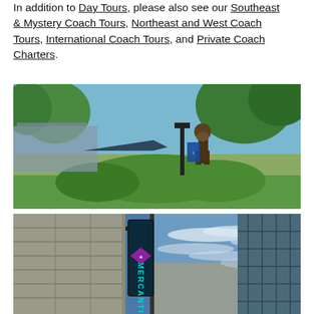In addition to Day Tours, please also see our Southeast & Mystery Coach Tours, Northeast and West Coach Tours, International Coach Tours, and Private Coach Charters.
[Figure (photo): Outdoor photo showing a bronze statue of a person holding a ball, surrounded by green shrubs and trees, with a large building or aircraft in the background under a blue sky.]
[Figure (photo): Low-angle urban photo showing tall buildings and a glowing neon sign reading 'MERCANTILE' against a dramatic blue sky with scattered clouds.]